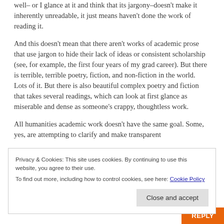well– or I glance at it and think that its jargony–doesn't make it inherently unreadable, it just means haven't done the work of reading it.
And this doesn't mean that there aren't works of academic prose that use jargon to hide their lack of ideas or consistent scholarship (see, for example, the first four years of my grad career). But there is terrible, terrible poetry, fiction, and non-fiction in the world. Lots of it. But there is also beautiful complex poetry and fiction that takes several readings, which can look at first glance as miserable and dense as someone's crappy, thoughtless work.
All humanities academic work doesn't have the same goal. Some, yes, are attempting to clarify and make transparent
Privacy & Cookies: This site uses cookies. By continuing to use this website, you agree to their use.
To find out more, including how to control cookies, see here: Cookie Policy
Close and accept
REPLY